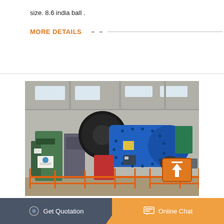size. 8.6 india ball .
MORE DETAILS
[Figure (photo): Large industrial blue ball mill inside a factory building with orange safety fencing, green motor/drive units, red components, and an upward-scroll button overlay in the lower right corner.]
Get Quotation | Online Chat